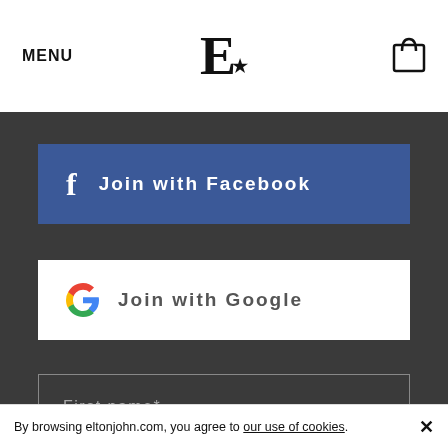MENU | E★ logo | Cart icon
f  Join with Facebook
G  Join with Google
First name*
Surname*
Email*
By browsing eltonjohn.com, you agree to our use of cookies. ×